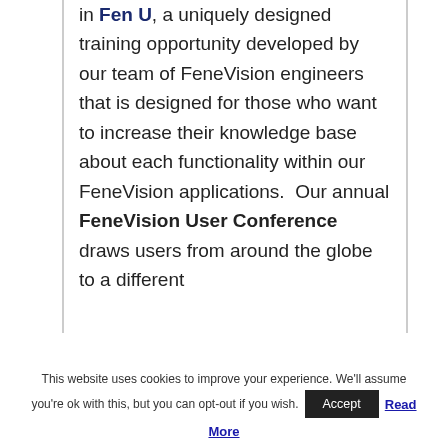in Fen U, a uniquely designed training opportunity developed by our team of FeneVision engineers that is designed for those who want to increase their knowledge base about each functionality within our FeneVision applications. Our annual FeneVision User Conference draws users from around the globe to a different
This website uses cookies to improve your experience. We'll assume you're ok with this, but you can opt-out if you wish. Accept Read More